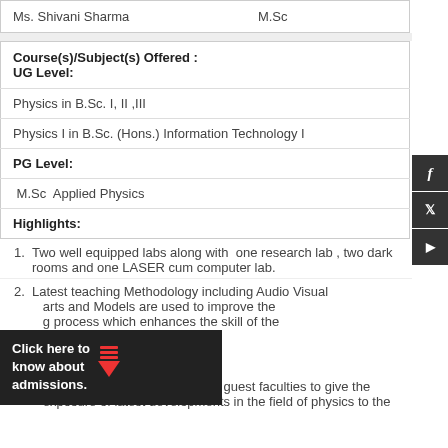| Ms. Shivani Sharma | M.Sc |
| Course(s)/Subject(s) Offered :
UG Level: |
| Physics in B.Sc. I, II ,III |
| Physics I in B.Sc. (Hons.) Information Technology I |
| PG Level: |
| M.Sc  Applied Physics |
| Highlights: |
Two well equipped labs along with  one research lab , two dark rooms and one LASER cum computer lab.
Latest teaching Methodology including Audio Visual arts and Models are used to improve the g process which enhances the skill of the
Eminent Scientists are invited as guest faculties to give the exposure of latest developments in the field of physics to the